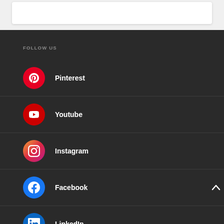[Figure (screenshot): White rounded rectangle form/input box on light gray background]
FOLLOW US
Pinterest
Youtube
Instagram
Facebook
LinkedIn